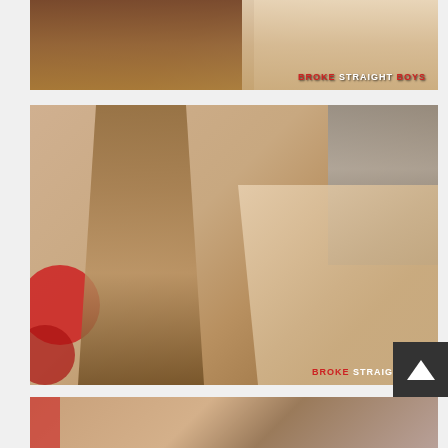[Figure (photo): Close-up photo of two people with watermark 'BROKE STRAIGHT BOYS' in lower right]
[Figure (photo): Photo of two men in a room with red circular decorations on wall and black-and-white cityscape poster, watermark 'BROKE STRAIGHT BO' partially visible in lower right]
[Figure (photo): Partial photo at bottom of page, cropped]